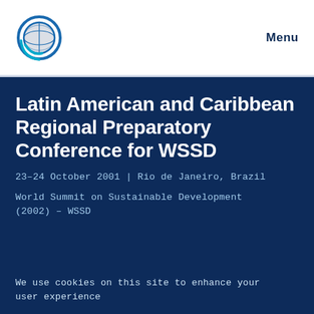[Figure (logo): Circular globe logo with blue and teal design on white background]
Menu
Latin American and Caribbean Regional Preparatory Conference for WSSD
23–24 October 2001 | Rio de Janeiro, Brazil
World Summit on Sustainable Development (2002) – WSSD
We use cookies on this site to enhance your user experience